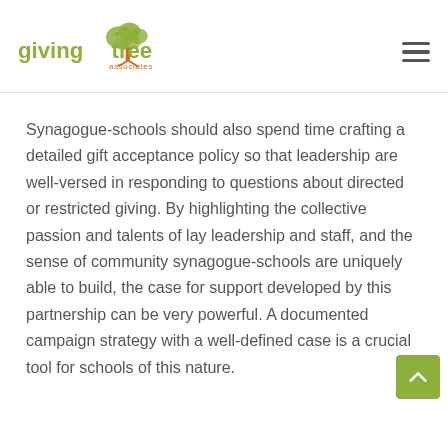[Figure (logo): Giving Tree Associates logo with tree illustration and green text]
Synagogue-schools should also spend time crafting a detailed gift acceptance policy so that leadership are well-versed in responding to questions about directed or restricted giving. By highlighting the collective passion and talents of lay leadership and staff, and the sense of community synagogue-schools are uniquely able to build, the case for support developed by this partnership can be very powerful. A documented campaign strategy with a well-defined case is a crucial tool for schools of this nature.